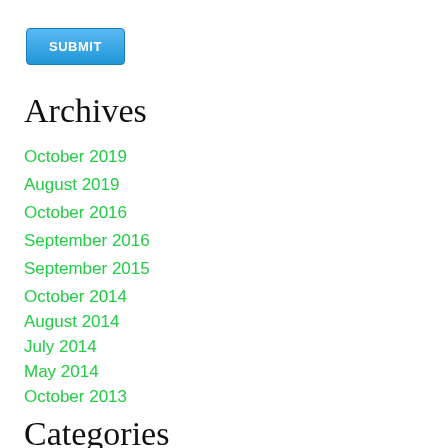[Figure (other): Blue SUBMIT button]
Archives
October 2019
August 2019
October 2016
September 2016
September 2015
October 2014
August 2014
July 2014
May 2014
October 2013
September 2013
August 2013
July 2013
Categories